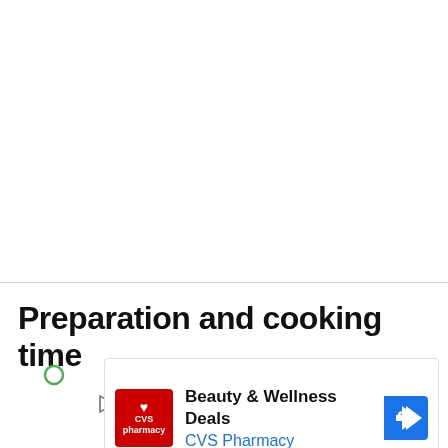Preparation and cooking time
[Figure (other): CVS Pharmacy advertisement banner showing Beauty & Wellness Deals with CVS logo and navigation arrow]